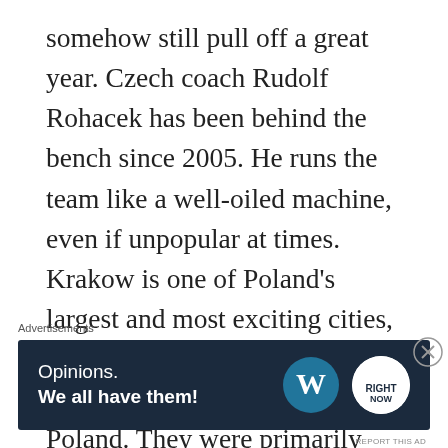somehow still pull off a great year. Czech coach Rudolf Rohacek has been behind the bench since 2005. He runs the team like a well-oiled machine, even if unpopular at times. Krakow is one of Poland's largest and most exciting cities, and the team also has one of the most significant budgets in Poland. They were primarily made up of Russian imports in the previous seasons but have committed to not signing any for the 2023 season.
KH Torun – There is a lot of fan support for Torun, and they finish towards the top of the
[Figure (other): Advertisement banner: dark navy background with 'Opinions. We all have them!' text and WordPress logo plus a circular secondary logo. Labeled 'Advertisements' above.]